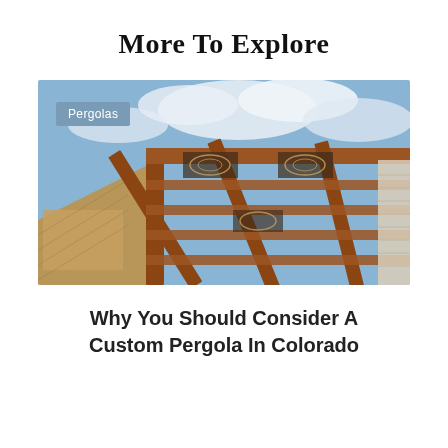More To Explore
[Figure (photo): Custom wooden pergola shot from below at an angle, showing reddish-brown timber beams and rafters with decorative carved panels, against a blue sky with clouds. A label badge reading 'Pergolas' is overlaid in the upper-left corner.]
Why You Should Consider A Custom Pergola In Colorado